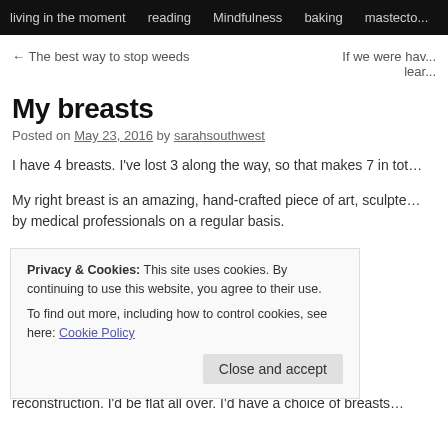living in the moment   reading   Mindfulness   baking   mastecto...
← The best way to stop weeds
If we were hav... lear...
My breasts
Posted on May 23, 2016 by sarahsouthwest
I have 4 breasts. I've lost 3 along the way, so that makes 7 in tot…
My right breast is an amazing, hand-crafted piece of art, sculpte… by medical professionals on a regular basis.
Privacy & Cookies: This site uses cookies. By continuing to use this website, you agree to their use.
To find out more, including how to control cookies, see here: Cookie Policy
Close and accept
reconstruction. I'd be flat all over. I'd have a choice of breasts…